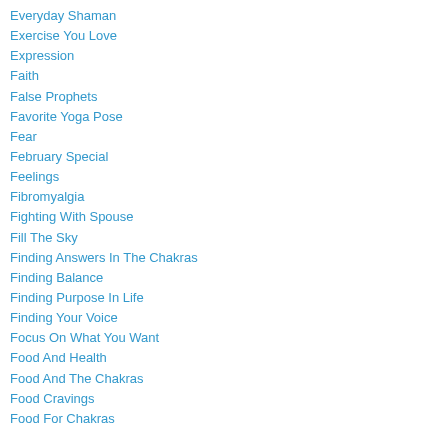Everyday Shaman
Exercise You Love
Expression
Faith
False Prophets
Favorite Yoga Pose
Fear
February Special
Feelings
Fibromyalgia
Fighting With Spouse
Fill The Sky
Finding Answers In The Chakras
Finding Balance
Finding Purpose In Life
Finding Your Voice
Focus On What You Want
Food And Health
Food And The Chakras
Food Cravings
Food For Chakras